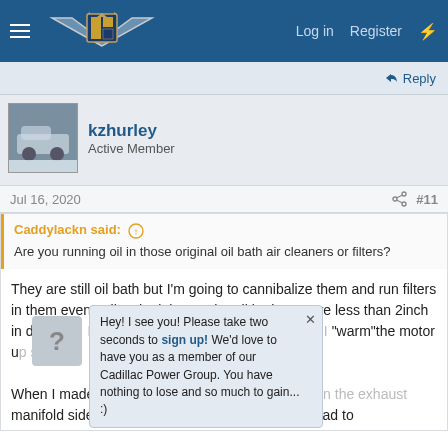Cadillac forum site header with Log in, Register, and lightning bolt icon
Reply
[Figure (photo): Avatar photo of a classic Cadillac car in snowy setting]
kzhurley
Active Member
Jul 16, 2020  #11
Caddylackn said: ↑
Are you running oil in those original oil bath air cleaners or filters?
They are still oil bath but I'm going to cannibalize them and run filters in them eventually. The inlets to the oil bath part are less than 2inch in diameter. I believe that will be a restriction once I "warm"the motor up some.
Hey! I see you! Please take two seconds to sign up! We'd love to have you as a member of our Cadillac Power Group. You have nothing to lose and so much to gain... :)
When I made my adapters, I filled up the 2 holes on the exhaust manifold side. They are like 1/4 inch difference. I had to